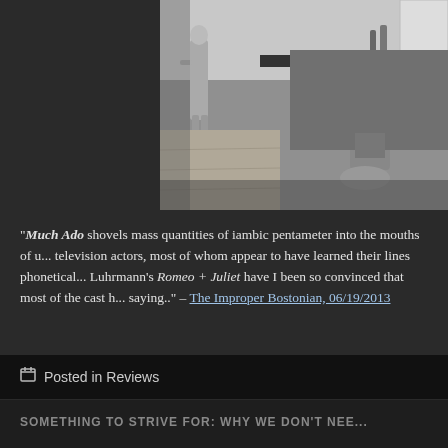[Figure (photo): Black and white film still showing two women in a kitchen/living space. One woman stands in the background near a kitchen counter, another sits on the floor in the foreground.]
"Much Ado shovels mass quantities of iambic pentameter into the mouths of television actors, most of whom appear to have learned their lines phonetically. Since Luhrmann's Romeo + Juliet have I been so convinced that most of the cast had no idea what they were saying.." – The Improper Bostonian, 06/19/2013
Posted in Reviews
SOMETHING TO STRIVE FOR: WHY WE DON'T NEE...